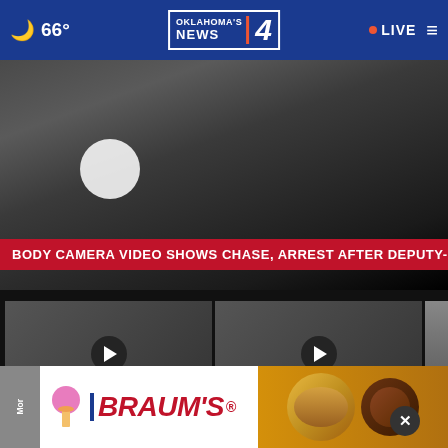66° OKLAHOMA'S NEWS 4 • LIVE
[Figure (screenshot): Hero video thumbnail showing dark scene with a large white play button. Red banner at bottom reads: BODY CAMERA VIDEO SHOWS CHASE, ARREST AFTER DEPUTY-INVOLVED SHOOTING]
BODY CAMERA VIDEO SHOWS CHASE, ARREST AFTER DEPUTY-INVOLVED SHOOTING
[Figure (screenshot): Video thumbnail 1: Body cam video still with circular play button overlay]
Body cam video shows chase, arrest after tw... 1 day ago
[Figure (screenshot): Video thumbnail 2: Body cam video still with circular play button overlay]
Body cam video shows chase, arrest after tw... 1 day ago
[Figure (screenshot): Video thumbnail 3: OU fan partial thumbnail]
OU fa...
[Figure (photo): Braum's advertisement banner with Braum's logo, ice cream cone icon, and food images (burger, dessert) on an orange/tan background]
Mor